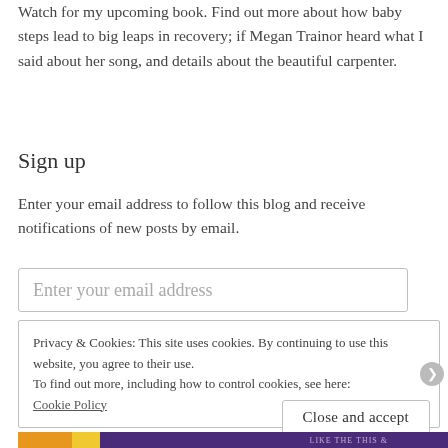Watch for my upcoming book. Find out more about how baby steps lead to big leaps in recovery; if Megan Trainor heard what I said about her song, and details about the beautiful carpenter.
Sign up
Enter your email address to follow this blog and receive notifications of new posts by email.
Enter your email address
Privacy & Cookies: This site uses cookies. By continuing to use this website, you agree to their use.
To find out more, including how to control cookies, see here:
Cookie Policy
Close and accept